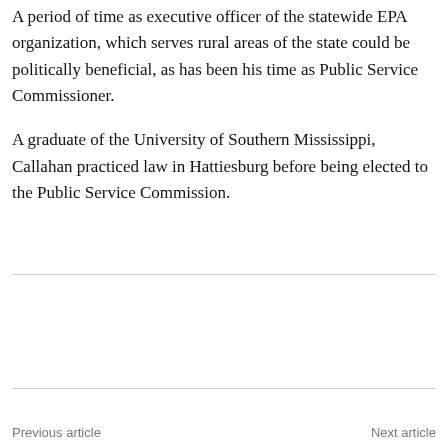A period of time as executive officer of the statewide EPA organization, which serves rural areas of the state could be politically beneficial, as has been his time as Public Service Commissioner.
A graduate of the University of Southern Mississippi, Callahan practiced law in Hattiesburg before being elected to the Public Service Commission.
Previous article   Next article